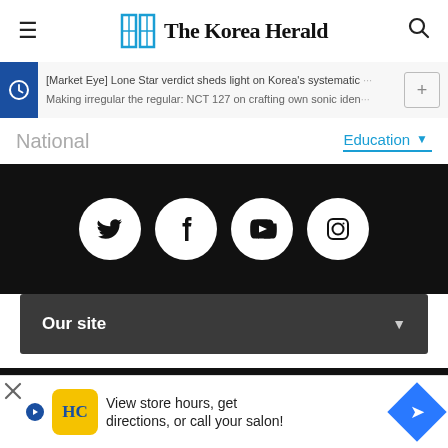The Korea Herald
[Market Eye] Lone Star verdict sheds light on Korea's systematic ...
Making irregular the regular: NCT 127 on crafting own sonic iden...
National
Education ▼
[Figure (logo): Social media icons: Twitter, Facebook, YouTube, Instagram — white icons on black circular backgrounds on a black bar]
Our site ▼
The Korea Herald by Herald Corporation
Copyright Herald Corporation. All Rights Reserved.
Address : Huam-ro 4-gil 10, Yongsan-gu, Seoul, Korea
Online newspaper registration No.: Seoul 아03711
Date of registration : 2015.04.28
Publisher, Editor : Jeon Chang-hyeop
Juvenile Protection Manager: Ahn Sung-mi
View store hours, get directions, or call your salon!